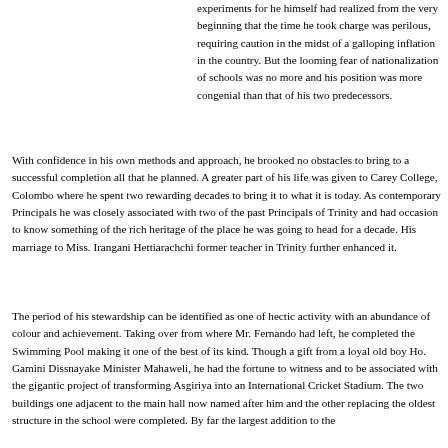experiments for he himself had realized from the very beginning that the time he took charge was perilous, requiring caution in the midst of a galloping inflation in the country. But the looming fear of nationalization of schools was no more and his position was more congenial than that of his two predecessors.
With confidence in his own methods and approach, he brooked no obstacles to bring to a successful completion all that he planned. A greater part of his life was given to Carey College, Colombo where he spent two rewarding decades to bring it to what it is today. As contemporary Principals he was closely associated with two of the past Principals of Trinity and had occasion to know something of the rich heritage of the place he was going to head for a decade. His marriage to Miss. Irangani Hettiarachchi former teacher in Trinity further enhanced it.
The period of his stewardship can be identified as one of hectic activity with an abundance of colour and achievement. Taking over from where Mr. Fernando had left, he completed the Swimming Pool making it one of the best of its kind. Though a gift from a loyal old boy Ho. Gamini Dissnayake Minister Mahaweli, he had the fortune to witness and to be associated with the gigantic project of transforming Asgiriya into an International Cricket Stadium. The two buildings one adjacent to the main hall now named after him and the other replacing the oldest structure in the school were completed. By far the largest addition to the